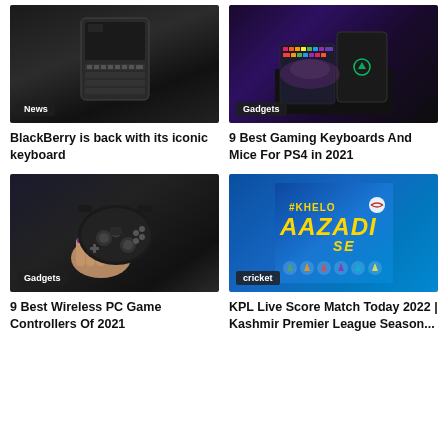[Figure (photo): BlackBerry phone with physical keyboard on dark surface, category tag 'News']
[Figure (photo): Gaming keyboard and mouse with RGB lighting on dark desk, category tag 'Gadgets']
BlackBerry is back with its iconic keyboard
9 Best Gaming Keyboards And Mice For PS4 in 2021
[Figure (photo): Hand holding black PS4 wireless controller, category tag 'Gadgets']
[Figure (photo): Blue promotional banner with text '#KHELO AAZADI SE' and game icons, category tag 'cricket']
9 Best Wireless PC Game Controllers Of 2021
KPL Live Score Match Today 2022 | Kashmir Premier League Season...